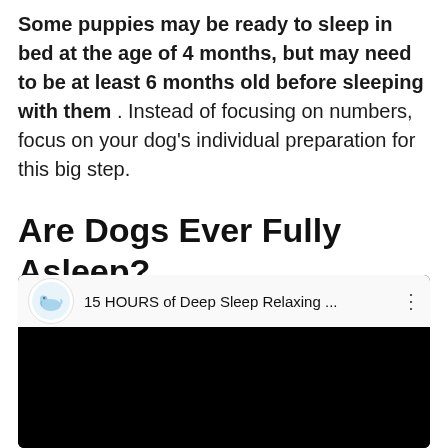Some puppies may be ready to sleep in bed at the age of 4 months, but may need to be at least 6 months old before sleeping with them. Instead of focusing on numbers, focus on your dog's individual preparation for this big step.
Are Dogs Ever Fully Asleep?
[Figure (screenshot): YouTube video embed showing '15 HOURS of Deep Sleep Relaxing ...' with a sleeping dog logo icon, dark video thumbnail area below.]